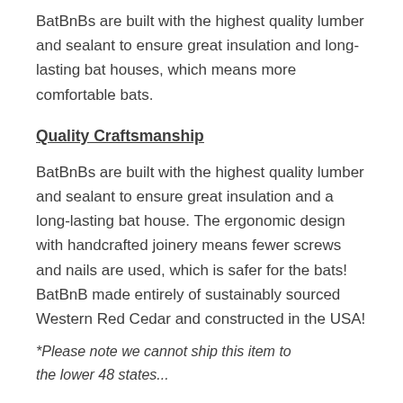BatBnBs are built with the highest quality lumber and sealant to ensure great insulation and long-lasting bat houses, which means more comfortable bats.
Quality Craftsmanship
BatBnBs are built with the highest quality lumber and sealant to ensure great insulation and a long-lasting bat house. The ergonomic design with handcrafted joinery means fewer screws and nails are used, which is safer for the bats! BatBnB made entirely of sustainably sourced Western Red Cedar and constructed in the USA!
*Please note we cannot ship this item to the lower 48 states...